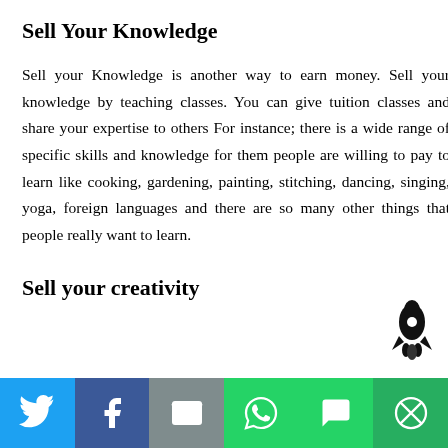Sell Your Knowledge
Sell your Knowledge is another way to earn money. Sell your knowledge by teaching classes. You can give tuition classes and share your expertise to others For instance; there is a wide range of specific skills and knowledge for them people are willing to pay to learn like cooking, gardening, painting, stitching, dancing, singing, yoga, foreign languages and there are so many other things that people really want to learn.
Sell your creativity
[Figure (infographic): Rocket/launch icon in black on bottom right]
Social share bar with Twitter, Facebook, Email, WhatsApp, SMS, and More buttons